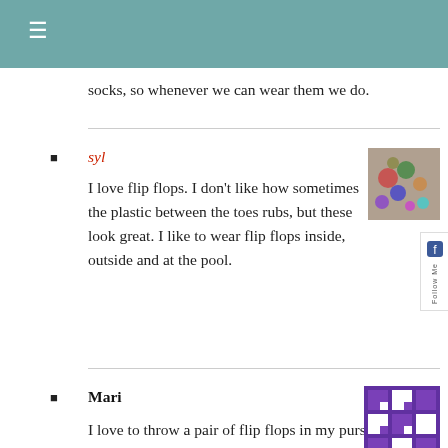≡
socks, so whenever we can wear them we do.
syl
I love flip flops. I don't like how sometimes the plastic between the toes rubs, but these look great. I like to wear flip flops inside, outside and at the pool.
Mari
I love to throw a pair of flip flops in my purse as a foot reprieve at the end of a night out. While I love my fun cute date shoes, there's nothing better than getting to take them off on the last leg of our journey